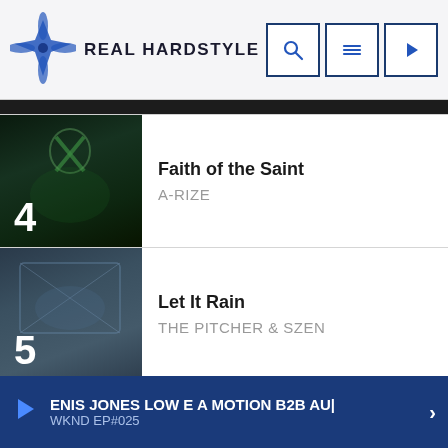REAL HARDSTYLE
4 - Faith of the Saint - A-RIZE
5 - Let It Rain - THE PITCHER & SZEN
FULL TRACKLIST
UPCOMING SHOWS
WKND
NO VOICE ONLY NOISE
20:00 - 00:00
ENIS JONES LOW E A MOTION B2B AU | WKND EP#025